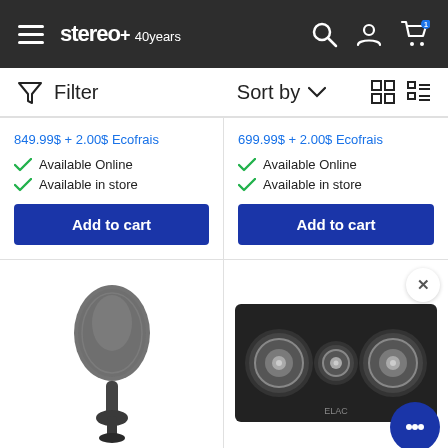stereo+ 40 years
Filter   Sort by   [grid/list view icons]
849.99$ + 2.00$ Ecofrais
Available Online
Available in store
Add to cart
699.99$ + 2.00$ Ecofrais
Available Online
Available in store
Add to cart
[Figure (photo): Blurred dark gray microphone on a stand, viewed from the side against a white background.]
[Figure (photo): ELAC center channel speaker in black with two woofers and a tweeter between them, viewed from the front.]